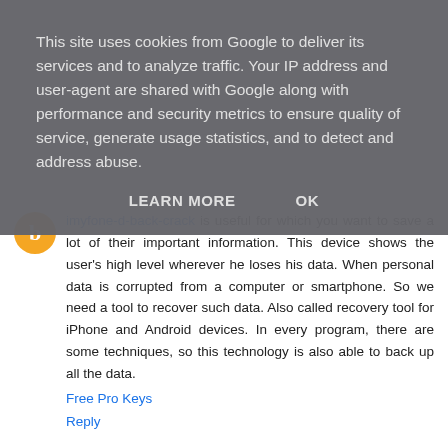This site uses cookies from Google to deliver its services and to analyze traffic. Your IP address and user-agent are shared with Google along with performance and security metrics to ensure quality of service, generate usage statistics, and to detect and address abuse.
LEARN MORE    OK
imyfone-d-back-crack is useful for which you want to save a lot of their important information. This device shows the user's high level wherever he loses his data. When personal data is corrupted from a computer or smartphone. So we need a tool to recover such data. Also called recovery tool for iPhone and Android devices. In every program, there are some techniques, so this technology is also able to back up all the data.
Free Pro Keys
Reply
reviewbaz 5 October 2020 at 01:09
The ul earn Deals mission is to provide customers with the